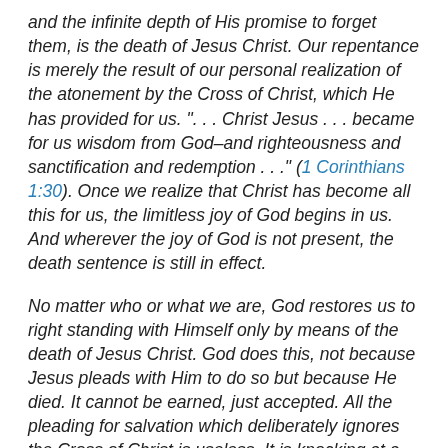and the infinite depth of His promise to forget them, is the death of Jesus Christ. Our repentance is merely the result of our personal realization of the atonement by the Cross of Christ, which He has provided for us. ". . . Christ Jesus . . . became for us wisdom from God–and righteousness and sanctification and redemption . . ." (1 Corinthians 1:30). Once we realize that Christ has become all this for us, the limitless joy of God begins in us. And wherever the joy of God is not present, the death sentence is still in effect.
No matter who or what we are, God restores us to right standing with Himself only by means of the death of Jesus Christ. God does this, not because Jesus pleads with Him to do so but because He died. It cannot be earned, just accepted. All the pleading for salvation which deliberately ignores the Cross of Christ is useless. It is knocking at a